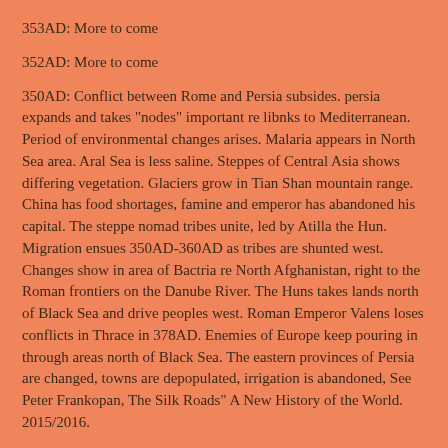353AD: More to come
352AD: More to come
350AD: Conflict between Rome and Persia subsides. persia expands and takes "nodes" important re libnks to Mediterranean. Period of environmental changes arises. Malaria appears in North Sea area. Aral Sea is less saline. Steppes of Central Asia shows differing vegetation. Glaciers grow in Tian Shan mountain range. China has food shortages, famine and emperor has abandoned his capital. The steppe nomad tribes unite, led by Atilla the Hun. Migration ensues 350AD-360AD as tribes are shunted west. Changes show in area of Bactria re North Afghanistan, right to the Roman frontiers on the Danube River. The Huns takes lands north of Black Sea and drive peoples west. Roman Emperor Valens loses conflicts in Thrace in 378AD. Enemies of Europe keep pouring in through areas north of Black Sea. The eastern provinces of Persia are changed, towns are depopulated, irrigation is abandoned, See Peter Frankopan, The Silk Roads" A New History of the World. 2015/2016.
By 350AD: Christianity arrives to Axum; a major kingdom of the Arabian Peninsula-Axum invades and subdues Kush in North East Africa.